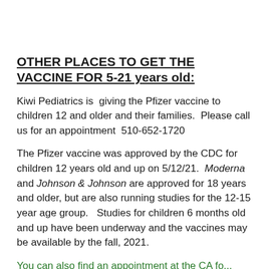OTHER PLACES TO GET THE VACCINE FOR 5-21 years old:
Kiwi Pediatrics is  giving the Pfizer vaccine to children 12 and older and their families.  Please call us for an appointment  510-652-1720
The Pfizer vaccine was approved by the CDC for children 12 years old and up on 5/12/21.  Moderna and Johnson & Johnson are approved for 18 years and older, but are also running studies for the 12-15 year age group.   Studies for children 6 months old and up have been underway and the vaccines may be available by the fall, 2021.
You can also find an appointment at the CA for...